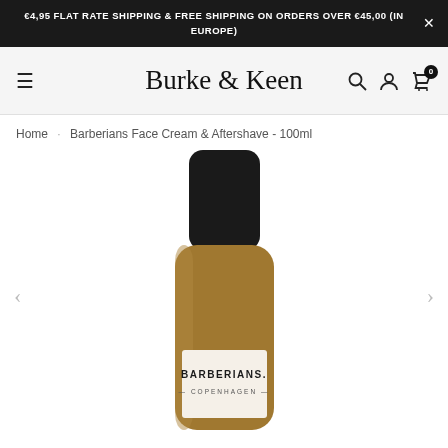€4,95 FLAT RATE SHIPPING & FREE SHIPPING ON ORDERS OVER €45,00 (IN EUROPE)
Burke & Keen
Home · Barberians Face Cream & Aftershave - 100ml
[Figure (photo): Product photo of Barberians Copenhagen Face Cream & Aftershave 100ml bottle — amber/tan colored cylindrical bottle with a black cap and white label reading BARBERIANS. COPENHAGEN]